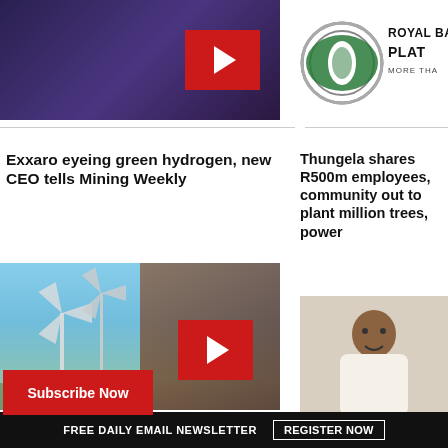[Figure (photo): Woman with glasses in a dark background, YouTube-style video thumbnail with red play button]
[Figure (logo): Royal Bafokeng Platinum logo - green circular eye-shaped icon with text ROYAL BA... PLAT... MORE THA...]
Exxaro eyeing green hydrogen, new CEO tells Mining Weekly
Thungela shares R500m employees, community out to plant million trees, power
[Figure (photo): Wind turbines against blue sky with other energy images in a collage, YouTube-style video thumbnail with red play button]
[Figure (photo): Man in white shirt smiling with arms crossed]
Subscribe Now
FREE DAILY EMAIL NEWSLETTER   REGISTER NOW